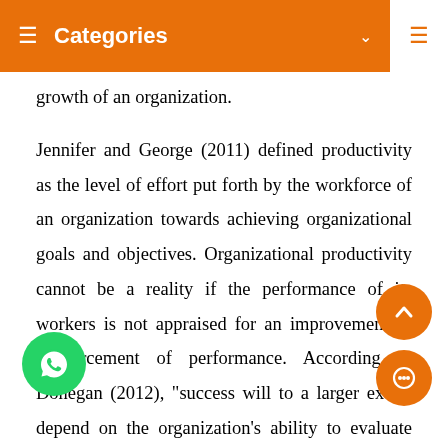Categories
growth of an organization.

Jennifer and George (2011) defined productivity as the level of effort put forth by the workforce of an organization towards achieving organizational goals and objectives. Organizational productivity cannot be a reality if the performance of its workers is not appraised for an improvement or reinforcement of performance. According to Donegan (2012), "success will to a larger extent depend on the organization's ability to evaluate progress and also hold accountable those charged with